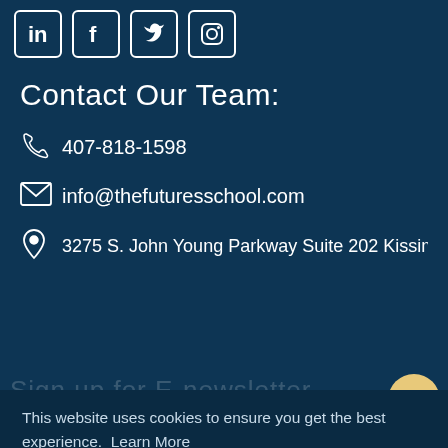[Figure (illustration): Social media icons: LinkedIn, Facebook, Twitter, Instagram — white icons in rounded square outlines on dark blue background]
Contact Our Team:
407-818-1598
info@thefuturesschool.com
3275 S. John Young Parkway Suite 202 Kissimmee, FL
This website uses cookies to ensure you get the best experience. Learn More
Decline
Allow Cookies
Sign up for E-newsletter
The solutions and confidence you need to create the